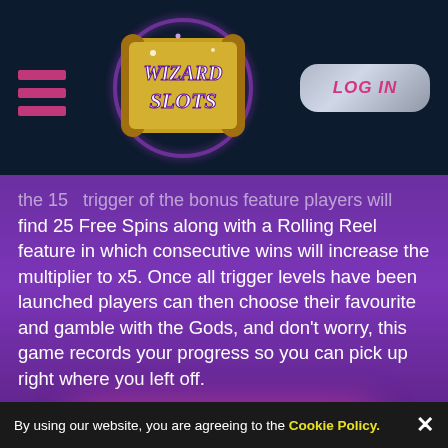[Figure (screenshot): Wizard Slots website navigation bar with hamburger menu, Wizard Slots logo in center, and LOG IN button on right against dark navy background]
the 15 trigger of the bonus feature players will find 25 Free Spins along with a Rolling Reel feature in which consecutive wins will increase the multiplier to x5. Once all trigger levels have been launched players can then choose their favourite and gamble with the Gods, and don't worry, this game records your progress so you can pick up right where you left off.
[Figure (other): Play Now button - large rounded pill-shaped button with pink-to-purple gradient and italic serif text 'Play Now' in white]
Reasons to play Thunderstruck II Slots
With every spin seemingly comes a new bonus
By using our website, you are agreeing to the Cookie Policy.